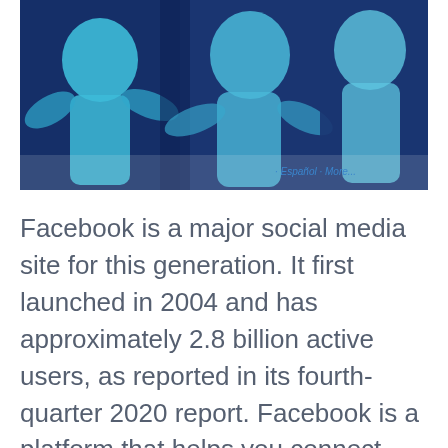[Figure (photo): A smartphone displaying the Facebook app interface with blue illustrated silhouette figures of people, language options visible including Español and More...]
Facebook is a major social media site for this generation. It first launched in 2004 and has approximately 2.8 billion active users, as reported in its fourth-quarter 2020 report. Facebook is a platform that helps you connect with your friends and family all over the world by sharing photos, videos, links, and updates. It was the first of its kind that helped close the distance between people in different